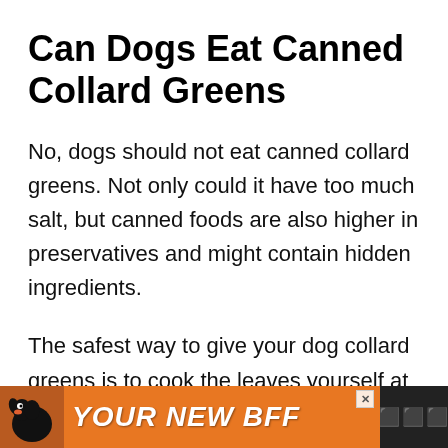Can Dogs Eat Canned Collard Greens
No, dogs should not eat canned collard greens. Not only could it have too much salt, but canned foods are also higher in preservatives and might contain hidden ingredients.
The safest way to give your dog collard greens is to cook the leaves yourself at home.
[Figure (infographic): Orange advertisement banner at bottom of page showing a dog silhouette and the text YOUR NEW BFF in bold italic white letters, with a close button and dark right section.]